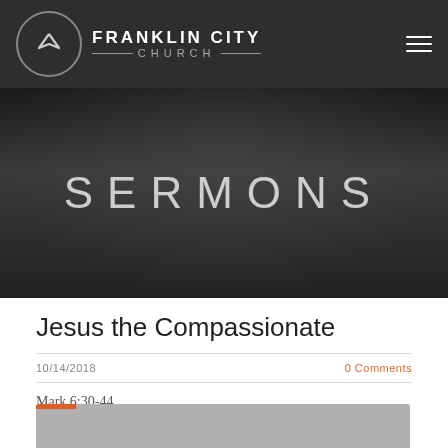FRANKLIN CITY CHURCH
[Figure (photo): Church congregation with pastor speaking on stage, dim auditorium lighting, hero banner image with overlay text SERMONS]
Jesus the Compassionate
10/14/2018    0 Comments
Mark 6:30-44
Pastor Grant Walker
[Figure (screenshot): Video player placeholder, partially visible at bottom of page]